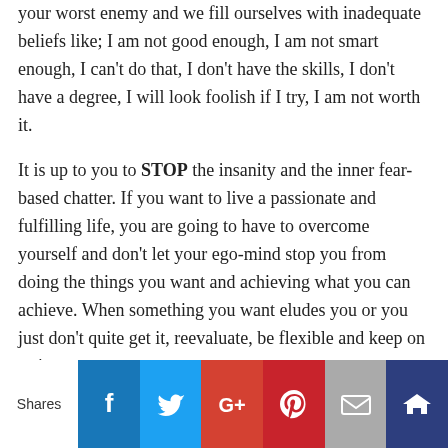your worst enemy and we fill ourselves with inadequate beliefs like; I am not good enough, I am not smart enough, I can't do that, I don't have the skills, I don't have a degree, I will look foolish if I try, I am not worth it.
It is up to you to STOP the insanity and the inner fear-based chatter. If you want to live a passionate and fulfilling life, you are going to have to overcome yourself and don't let your ego-mind stop you from doing the things you want and achieving what you can achieve. When something you want eludes you or you just don't quite get it, reevaluate, be flexible and keep on trying.